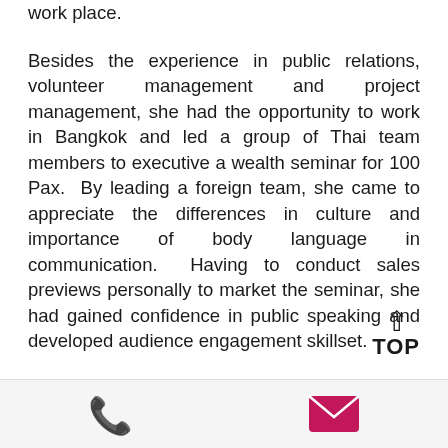work place.
Besides the experience in public relations, volunteer management and project management, she had the opportunity to work in Bangkok and led a group of Thai team members to executive a wealth seminar for 100 Pax. By leading a foreign team, she came to appreciate the differences in culture and importance of body language in communication. Having to conduct sales previews personally to market the seminar, she had gained confidence in public speaking and developed audience engagement skillset.
Fluent in Mandarin and Teochew.
[Figure (infographic): Footer bar with green phone icon on the left and pink/magenta email envelope icon on the right]